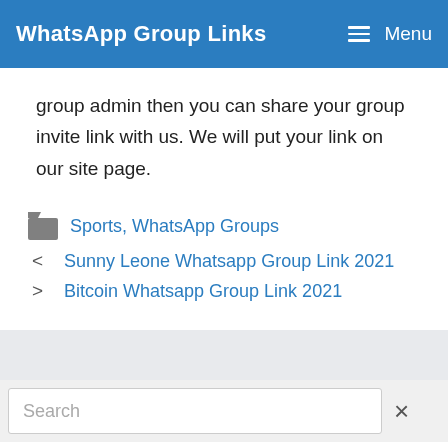WhatsApp Group Links   Menu
group admin then you can share your group invite link with us. We will put your link on our site page.
Sports, WhatsApp Groups
< Sunny Leone Whatsapp Group Link 2021
> Bitcoin Whatsapp Group Link 2021
Search